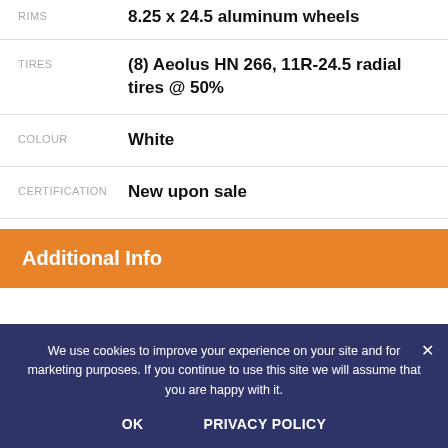| Label | Value |
| --- | --- |
| RIMS | 8.25 x 24.5 aluminum wheels |
| TIRES | (8) Aeolus HN 266, 11R-24.5 radial tires @ 50% |
| COLOUR | White |
| CERTIFICATION | New upon sale |
Additional Info
We use cookies to improve your experience on your site and for marketing purposes. If you continue to use this site we will assume that you are happy with it.
OK    PRIVACY POLICY